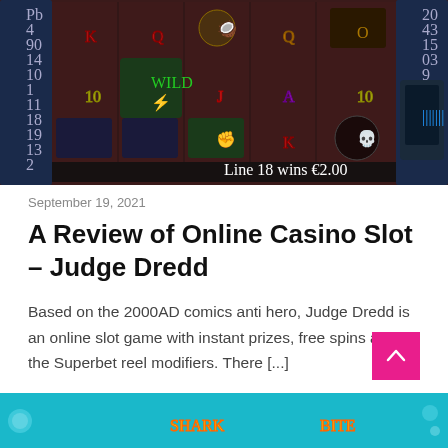[Figure (screenshot): Screenshot of the Judge Dredd online casino slot game showing 5 reels with symbols including K, Q, A, 10, wild character, and other game symbols on a dark sci-fi themed background. A win line at the bottom reads 'Line 18 wins €2.00'.]
September 19, 2021
A Review of Online Casino Slot – Judge Dredd
Based on the 2000AD comics anti hero, Judge Dredd is an online slot game with instant prizes, free spins and the Superbet reel modifiers. There [...]
[Figure (screenshot): Partial view of another game screenshot at the bottom, showing a colorful aquatic themed slot game with 'SHARK BITE' text visible in golden letters on a teal background.]